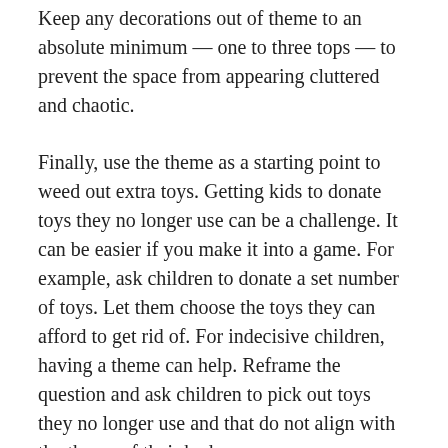Keep any decorations out of theme to an absolute minimum — one to three tops — to prevent the space from appearing cluttered and chaotic.
Finally, use the theme as a starting point to weed out extra toys. Getting kids to donate toys they no longer use can be a challenge. It can be easier if you make it into a game. For example, ask children to donate a set number of toys. Let them choose the toys they can afford to get rid of. For indecisive children, having a theme can help. Reframe the question and ask children to pick out toys they no longer use and that do not align with the theme of their bedroom.
When organizing a child's small bedroom, it is